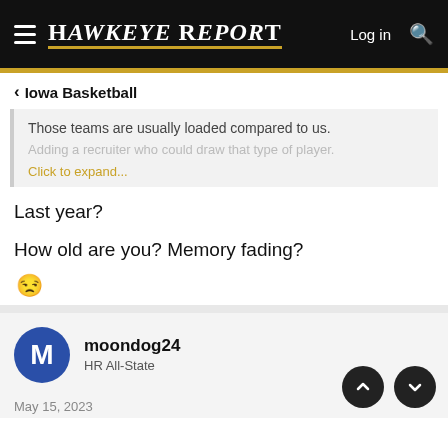Hawkeye Report — Log in
< Iowa Basketball
Those teams are usually loaded compared to us. Adding a recruiter who could draw that type of player. Click to expand...
Last year?
How old are you? Memory fading?
😅
moondog24
HR All-State
May 15, 2023